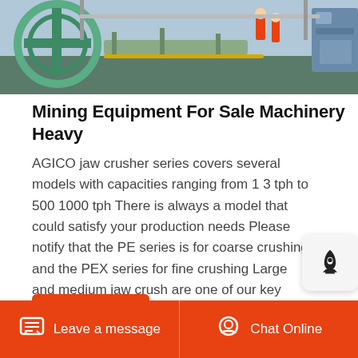[Figure (photo): Industrial mining equipment in a factory or plant setting, showing heavy machinery with yellow/green components and workers in orange vests]
Mining Equipment For Sale Machinery Heavy
AGICO jaw crusher series covers several models with capacities ranging from 1 3 tph to 500 1000 tph There is always a model that could satisfy your production needs Please notify that the PE series is for coarse crushing and the PEX series for fine crushing Large and medium jaw crushers are one of our key products
Get Price
[Figure (photo): Close-up of metallic industrial components, partially visible at bottom of page]
Leave a message   Chat Online